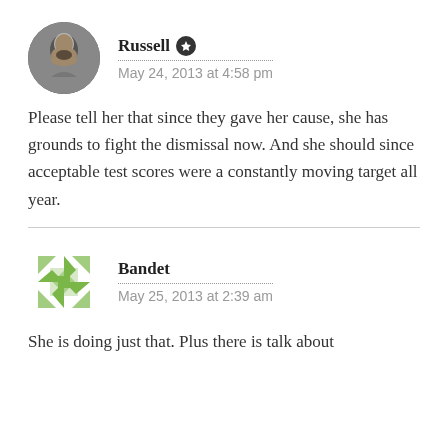Russell — May 24, 2013 at 4:58 pm
Please tell her that since they gave her cause, she has grounds to fight the dismissal now. And she should since acceptable test scores were a constantly moving target all year.
Bandet — May 25, 2013 at 2:39 am
She is doing just that. Plus there is talk about